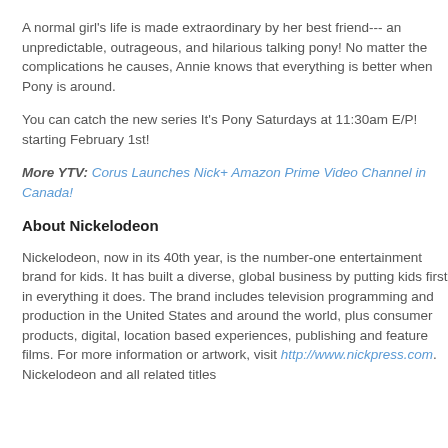A normal girl's life is made extraordinary by her best friend--- an unpredictable, outrageous, and hilarious talking pony! No matter the complications he causes, Annie knows that everything is better when Pony is around.
You can catch the new series It's Pony Saturdays at 11:30am E/P! starting February 1st!
More YTV: Corus Launches Nick+ Amazon Prime Video Channel in Canada!
About Nickelodeon
Nickelodeon, now in its 40th year, is the number-one entertainment brand for kids. It has built a diverse, global business by putting kids first in everything it does. The brand includes television programming and production in the United States and around the world, plus consumer products, digital, location based experiences, publishing and feature films. For more information or artwork, visit http://www.nickpress.com. Nickelodeon and all related titles